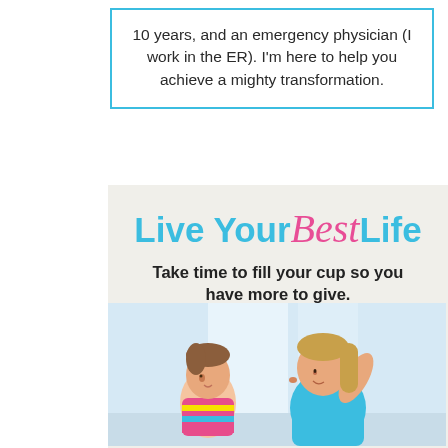10 years, and an emergency physician (I work in the ER). I'm here to help you achieve a mighty transformation.
[Figure (infographic): Promotional infographic with 'Live Your Best Life' heading in blue and pink script, tagline 'Take time to fill your cup so you have more to give.', and a photo of a woman in teal athletic wear touching noses with a young girl in a striped shirt.]